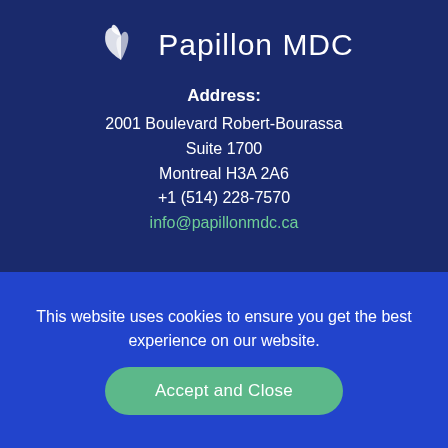[Figure (logo): Papillon MDC logo with white stylized bird/wing icon and 'Papillon MDC' text in white on dark blue background]
Address:
2001 Boulevard Robert-Bourassa
Suite 1700
Montreal H3A 2A6
+1 (514) 228-7570
info@papillonmdc.ca
This website uses cookies to ensure you get the best experience on our website.
Accept and Close